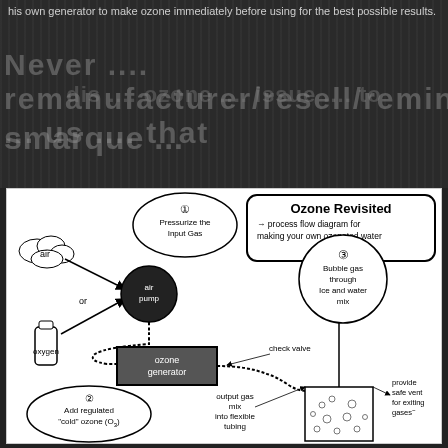his own generator to make ozone immediately before using for the best possible results.
Never [watermark text overlay]
smarque [watermark text overlay]
[Figure (flowchart): Process flow diagram titled 'Ozone Revisited — process flow diagram for making your own ozonated water'. Shows: (1) Pressurize the Input Gas via air pump (inputs: air or oxygen), (2) Add regulated 'cold' ozone (O3) via ozone generator with check valve, (3) Bubble gas through Ice and water mix, with output gas mix into flexible tubing, and provide safe vent for exiting gases.]